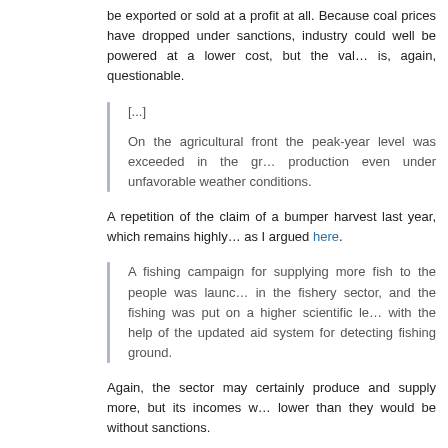be exported or sold at a profit at all. Because coal prices have dropped under sanctions, industry could well be powered at a lower cost, but the value is, again, questionable.
[...]
On the agricultural front the peak-year level was exceeded in the grain production even under unfavorable weather conditions.
A repetition of the claim of a bumper harvest last year, which remains highly questionable, as I argued here.
A fishing campaign for supplying more fish to the people was launched in the fishery sector, and the fishing was put on a higher scientific level with the help of the updated aid system for detecting fishing ground.
Again, the sector may certainly produce and supply more, but its incomes will be lower than they would be without sanctions.
The field of the land and environment protection turned the important projects including the Wonsan Kalma coastal tourist area and Yangdok Hot Spring Resort into thick woodland and greenery and face-lifted all roads including Pyongyang-Hyangsan and Pyongyang-Wonsan Motorways.
A hint that investment continued in the tourism industry, and that the state wants this industry to blossom in the future, despite the currently dire situation, by extension, perhaps also a suggestion of expected solid economic ties and exchanges with China.